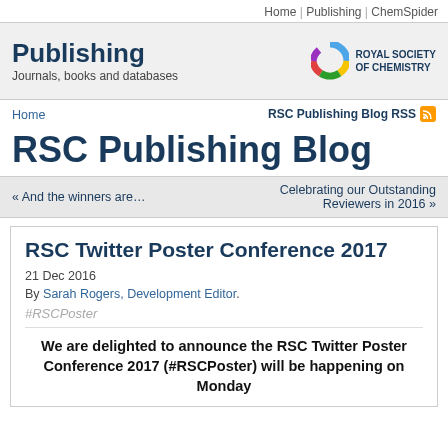Home | Publishing | ChemSpider
Publishing
Journals, books and databases
[Figure (logo): Royal Society of Chemistry logo with coloured C shape and text ROYAL SOCIETY OF CHEMISTRY]
Home
RSC Publishing Blog RSS
RSC Publishing Blog
« And the winners are…
Celebrating our Outstanding Reviewers in 2016 »
RSC Twitter Poster Conference 2017
21 Dec 2016
By Sarah Rogers, Development Editor.
#RSCPoster
We are delighted to announce the RSC Twitter Poster Conference 2017 (#RSCPoster) will be happening on Monday